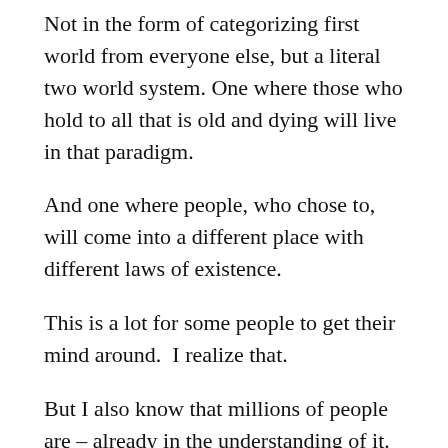Not in the form of categorizing first world from everyone else, but a literal two world system. One where those who hold to all that is old and dying will live in that paradigm.
And one where people, who chose to, will come into a different place with different laws of existence.
This is a lot for some people to get their mind around.  I realize that.
But I also know that millions of people are – already in the understanding of it.
Bit by bit, let's talk about all of this … here,